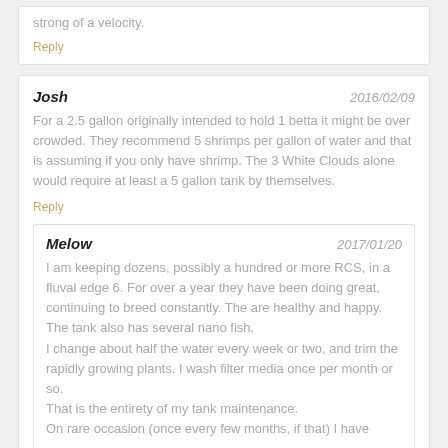strong of a velocity.
Reply
Josh
For a 2.5 gallon originally intended to hold 1 betta it might be over crowded. They recommend 5 shrimps per gallon of water and that is assuming if you only have shrimp. The 3 White Clouds alone would require at least a 5 gallon tank by themselves.
Reply
Melow
I am keeping dozens, possibly a hundred or more RCS, in a fluval edge 6. For over a year they have been doing great, continuing to breed constantly. The are healthy and happy. The tank also has several nano fish.
I change about half the water every week or two, and trim the rapidly growing plants. I wash filter media once per month or so.
That is the entirety of my tank maintenance.
On rare occasion (once every few months, if that) I have